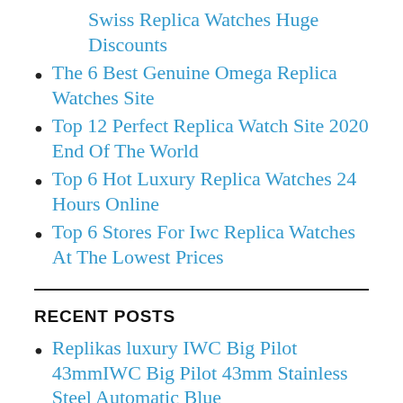Swiss Replica Watches Huge Discounts
The 6 Best Genuine Omega Replica Watches Site
Top 12 Perfect Replica Watch Site 2020 End Of The World
Top 6 Hot Luxury Replica Watches 24 Hours Online
Top 6 Stores For Iwc Replica Watches At The Lowest Prices
RECENT POSTS
Replikas luxury IWC Big Pilot 43mmIWC Big Pilot 43mm Stainless Steel Automatic Blue